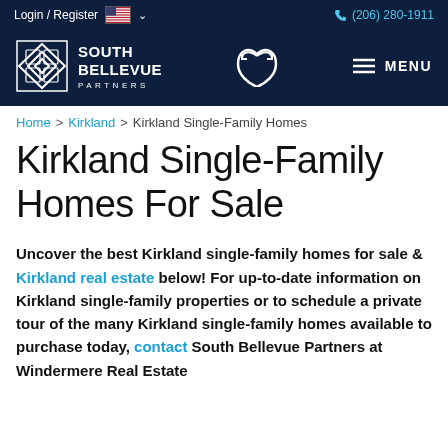Login / Register  (206) 280-1911
[Figure (logo): South Bellevue Partners logo with diamond icon and Windermere Partners center icon, white on dark navy background, with MENU button]
Home > Kirkland > Kirkland Single-Family Homes
Kirkland Single-Family Homes For Sale
Uncover the best Kirkland single-family homes for sale & Kirkland real estate below! For up-to-date information on Kirkland single-family properties or to schedule a private tour of the many Kirkland single-family homes available to purchase today, contact South Bellevue Partners at Windermere Real Estate